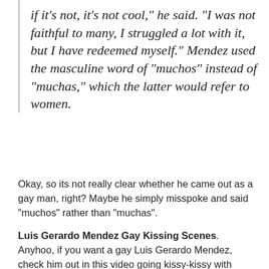if it's not, it's not cool," he said. "I was not faithful to many, I struggled a lot with it, but I have redeemed myself." Mendez used the masculine word of "muchos" instead of "muchas," which the latter would refer to women.
Okay, so its not really clear whether he came out as a gay man, right? Maybe he simply misspoke and said "muchos" rather than "muchas".
Luis Gerardo Mendez Gay Kissing Scenes. Anyhoo, if you want a gay Luis Gerardo Mendez, check him out in this video going kissy-kissy with fellow actor Luis Ernesto Franco. The clip is from a show called No sé si Cortarme las Venas o